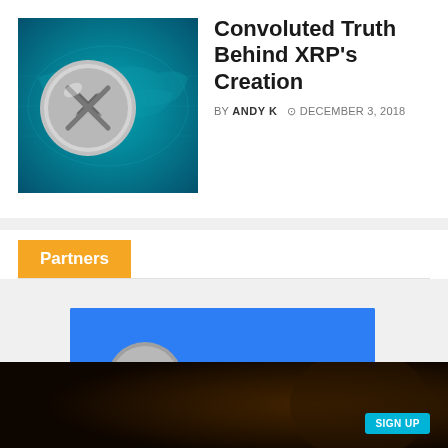[Figure (photo): Ripple XRP coin over world map background, cyan/teal tones]
Convoluted Truth Behind XRP's Creation
BY ANDY K  DECEMBER 3, 2018
Partners
[Figure (logo): Coinbase advertisement banner on blue background with Litecoin and Ethereum logos and coinbase wordmark]
[Figure (infographic): Binance advertisement banner: Join the fastest growing cryptocurrency exchange of all time! with Binance logo and SIGN UP button]